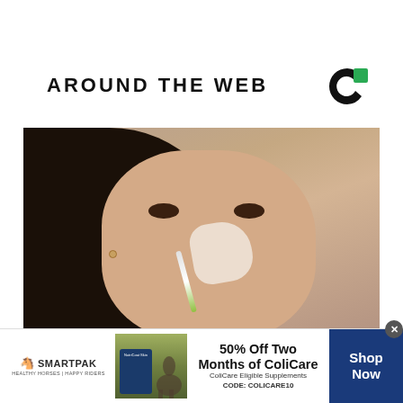AROUND THE WEB
[Figure (logo): Circular C logo in black and green, representing a content recommendation widget brand]
[Figure (photo): Close-up photo of a young woman with dark hair applying a white cream or face mask to her nose using a brush]
[Figure (infographic): Advertisement banner for SmartPak featuring ColiCare supplement. Text reads: 50% Off Two Months of ColiCare, ColiCare Eligible Supplements, CODE: COLICARE10, Shop Now. SmartPak logo on left, product image in center.]